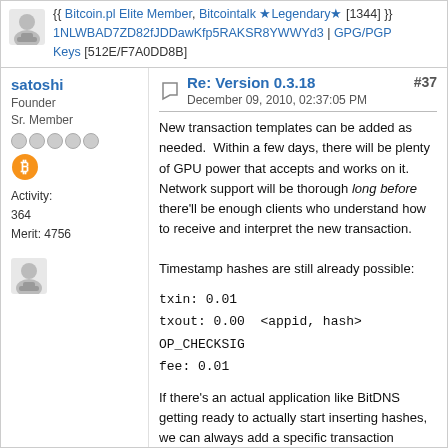{{ Bitcoin.pl Elite Member, Bitcointalk ★Legendary★ [1344] }} 1NLWBAD7ZD82fJDDawKfp5RAKSR8YWWYd3 | GPG/PGP Keys [512E/F7A0DD8B]
satoshi — Re: Version 0.3.18 — December 09, 2010, 02:37:05 PM — #37
Founder
Sr. Member
Activity: 364
Merit: 4756
New transaction templates can be added as needed.  Within a few days, there will be plenty of GPU power that accepts and works on it.  Network support will be thorough long before there'll be enough clients who understand how to receive and interpret the new transaction.
Timestamp hashes are still already possible:
txin: 0.01
txout: 0.00  <appid, hash> OP_CHECKSIG
fee: 0.01
If there's an actual application like BitDNS getting ready to actually start inserting hashes, we can always add a specific transaction template for timestamps.
I like Hal Finney's idea for user-friendly timestamping.  Convert the hash of a file to a bitcoin address and send 0.01 to it: